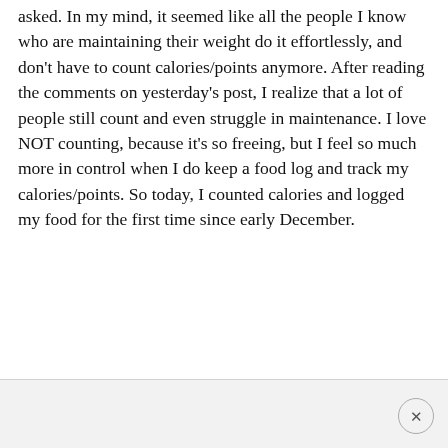asked. In my mind, it seemed like all the people I know who are maintaining their weight do it effortlessly, and don't have to count calories/points anymore. After reading the comments on yesterday's post, I realize that a lot of people still count and even struggle in maintenance. I love NOT counting, because it's so freeing, but I feel so much more in control when I do keep a food log and track my calories/points. So today, I counted calories and logged my food for the first time since early December.